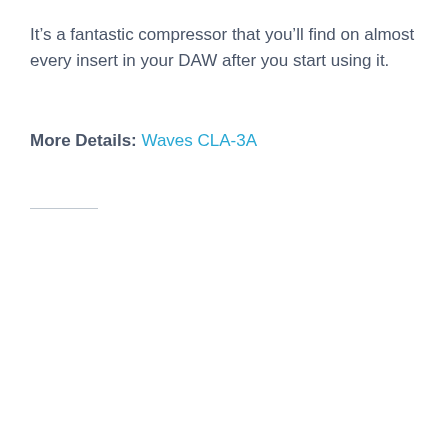It’s a fantastic compressor that you’ll find on almost every insert in your DAW after you start using it.
More Details: Waves CLA-3A